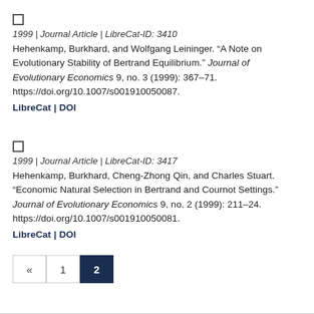1999 | Journal Article | LibreCat-ID: 3410
Hehenkamp, Burkhard, and Wolfgang Leininger. “A Note on Evolutionary Stability of Bertrand Equilibrium.” Journal of Evolutionary Economics 9, no. 3 (1999): 367–71. https://doi.org/10.1007/s001910050087.
LibreCat | DOI
1999 | Journal Article | LibreCat-ID: 3417
Hehenkamp, Burkhard, Cheng-Zhong Qin, and Charles Stuart. “Economic Natural Selection in Bertrand and Cournot Settings.” Journal of Evolutionary Economics 9, no. 2 (1999): 211–24. https://doi.org/10.1007/s001910050081.
LibreCat | DOI
« 1 2